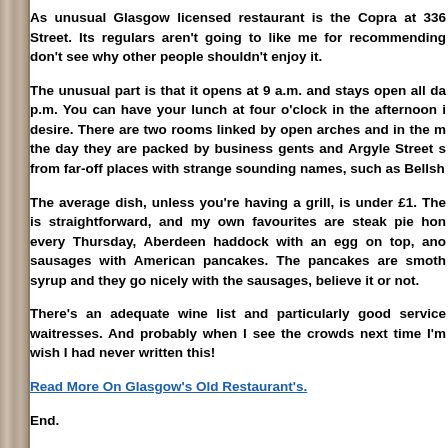As unusual Glasgow licensed restaurant is the Copra at 336 Street. Its regulars aren't going to like me for recommending don't see why other people shouldn't enjoy it.
The unusual part is that it opens at 9 a.m. and stays open all da p.m. You can have your lunch at four o'clock in the afternoon i desire. There are two rooms linked by open arches and in the m the day they are packed by business gents and Argyle Street s from far-off places with strange sounding names, such as Bellsh
The average dish, unless you're having a grill, is under £1. The is straightforward, and my own favourites are steak pie hon every Thursday, Aberdeen haddock with an egg on top, ano sausages with American pancakes. The pancakes are smoth syrup and they go nicely with the sausages, believe it or not.
There's an adequate wine list and particularly good service waitresses. And probably when I see the crowds next time I'm wish I had never written this!
Read More On Glasgow's Old Restaurant's.
End.